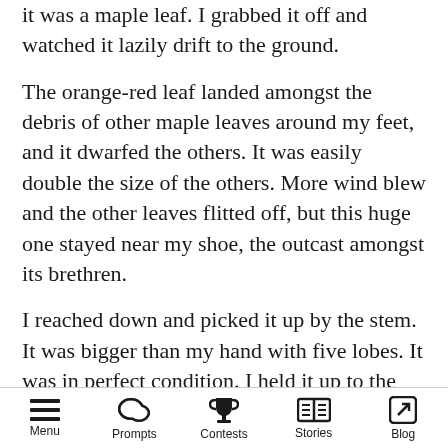it was a maple leaf. I grabbed it off and watched it lazily drift to the ground.
The orange-red leaf landed amongst the debris of other maple leaves around my feet, and it dwarfed the others. It was easily double the size of the others. More wind blew and the other leaves flitted off, but this huge one stayed near my shoe, the outcast amongst its brethren.
I reached down and picked it up by the stem. It was bigger than my hand with five lobes. It was in perfect condition. I held it up to the sun, twisting it around.
As the sun filtered through the broad leaf, everything changed. Branching out from the
Menu  Prompts  Contests  Stories  Blog